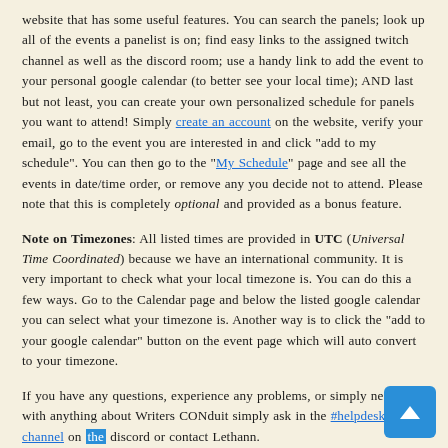website that has some useful features. You can search the panels; look up all of the events a panelist is on; find easy links to the assigned twitch channel as well as the discord room; use a handy link to add the event to your personal google calendar (to better see your local time); AND last but not least, you can create your own personalized schedule for panels you want to attend! Simply create an account on the website, verify your email, go to the event you are interested in and click "add to my schedule". You can then go to the "My Schedule" page and see all the events in date/time order, or remove any you decide not to attend. Please note that this is completely optional and provided as a bonus feature.
Note on Timezones: All listed times are provided in UTC (Universal Time Coordinated) because we have an international community. It is very important to check what your local timezone is. You can do this a few ways. Go to the Calendar page and below the listed google calendar you can select what your timezone is. Another way is to click the "add to your google calendar" button on the event page which will auto convert to your timezone.
If you have any questions, experience any problems, or simply need help with anything about Writers CONduit simply ask in the #helpdesk channel on the discord or contact Lethann.